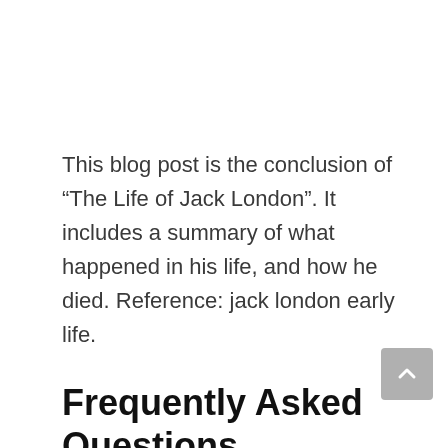This blog post is the conclusion of “The Life of Jack London”. It includes a summary of what happened in his life, and how he died. Reference: jack london early life.
Frequently Asked Questions
What is the summary of the law of life by Jack London?
A: The summary of the law of life by Jack